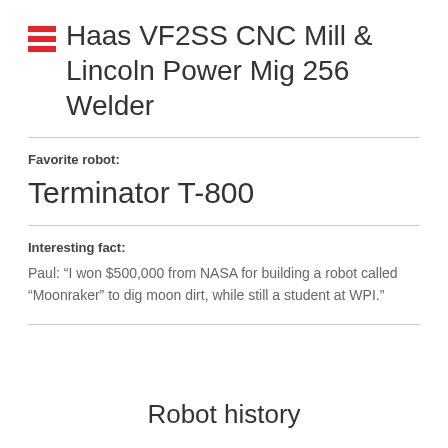Haas VF2SS CNC Mill & Lincoln Power Mig 256 Welder
Favorite robot:
Terminator T-800
Interesting fact:
Paul: “I won $500,000 from NASA for building a robot called “Moonraker” to dig moon dirt, while still a student at WPI.”
Robot history